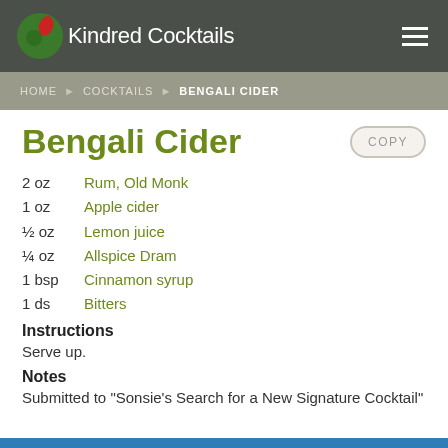Kindred Cocktails
HOME > COCKTAILS > BENGALI CIDER
Bengali Cider
2 oz  Rum, Old Monk
1 oz  Apple cider
½ oz  Lemon juice
¼ oz  Allspice Dram
1 bsp  Cinnamon syrup
1 ds  Bitters
Instructions
Serve up.
Notes
Submitted to "Sonsie's Search for a New Signature Cocktail"